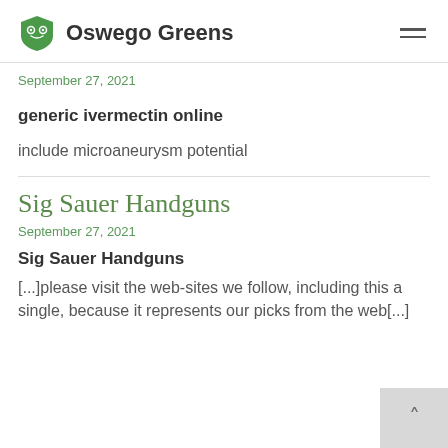Oswego Greens
September 27, 2021
generic ivermectin online
include microaneurysm potential
Sig Sauer Handguns
September 27, 2021
Sig Sauer Handguns
[...]please visit the web-sites we follow, including this a single, because it represents our picks from the web[...]